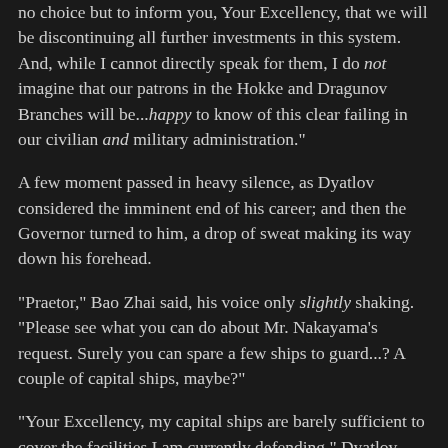no choice but to inform you, Your Excellency, that we will be discontinuing all further investments in this system. And, while I cannot directly speak for them, I do not imagine that our patrons in the Hokke and Dragunov Branches will be...happy to know of this clear failing in our civilian and military administration."
A few moment passed in heavy silence, as Dyatlov considered the imminent end of his career; and then the Governor turned to him, a drop of sweat making its way down his forehead.
"Praetor," Bao Zhai said, his voice only slightly shaking. "Please see what you can do about Mr. Nakayama's request. Surely you can spare a few ships to guard...? A couple of capital ships, maybe?"
"Your Excellency, my capital ships are barely sufficient to cover the facilities I am currently defending," Dyatlov replied, his voice tired and his lack of sleep suddenly looming in the back of his mind like a dark wave. "Which of